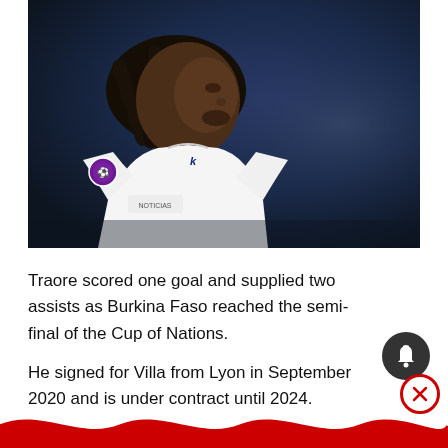[Figure (photo): A footballer wearing a white jersey with a Premier League badge and Kappa logo on the sleeve, photographed from the side against a dark blue stadium background. The player has dreadlocks and appears to be looking to the right.]
Traore scored one goal and supplied two assists as Burkina Faso reached the semi-final of the Cup of Nations.
He signed for Villa from Lyon in September 2020 and is under contract until 2024.